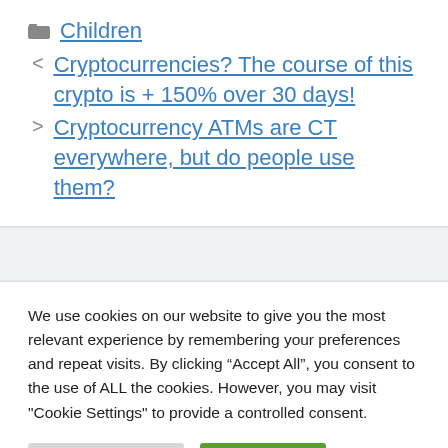Children
Cryptocurrencies? The course of this crypto is + 150% over 30 days!
Cryptocurrency ATMs are CT everywhere, but do people use them?
We use cookies on our website to give you the most relevant experience by remembering your preferences and repeat visits. By clicking “Accept All”, you consent to the use of ALL the cookies. However, you may visit "Cookie Settings" to provide a controlled consent.